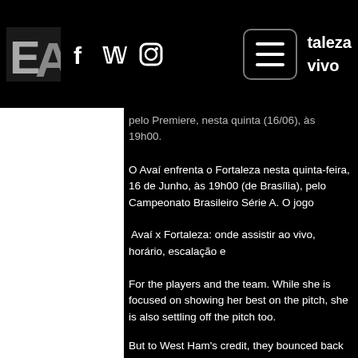taleza vivo
pelo Premiere, nesta quinta (16/06), às 19h00.
O Avaí enfrenta o Fortaleza nesta quinta-feira, 16 de Junho, às 19h00 (de Brasília), pelo Campeonato Brasileiro Série A. O jogo
Avaí x Fortaleza: onde assistir ao vivo, horário, escalação e
For the players and the team. While she is focused on showing her best on the pitch, she is also settling off the pitch too.
But to West Ham's credit, they bounced back